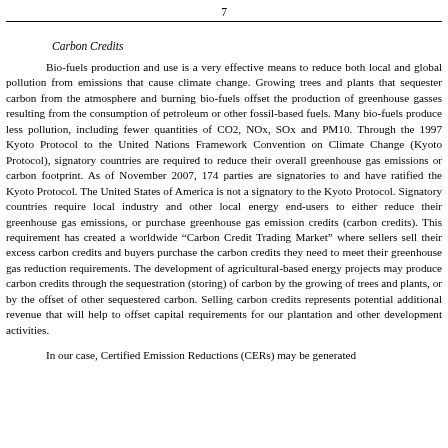7
Carbon Credits
Bio-fuels production and use is a very effective means to reduce both local and global pollution from emissions that cause climate change. Growing trees and plants that sequester carbon from the atmosphere and burning bio-fuels offset the production of greenhouse gasses resulting from the consumption of petroleum or other fossil-based fuels. Many bio-fuels produce less pollution, including fewer quantities of CO2, NOx, SOx and PM10. Through the 1997 Kyoto Protocol to the United Nations Framework Convention on Climate Change (Kyoto Protocol), signatory countries are required to reduce their overall greenhouse gas emissions or carbon footprint. As of November 2007, 174 parties are signatories to and have ratified the Kyoto Protocol. The United States of America is not a signatory to the Kyoto Protocol. Signatory countries require local industry and other local energy end-users to either reduce their greenhouse gas emissions, or purchase greenhouse gas emission credits (carbon credits). This requirement has created a worldwide “Carbon Credit Trading Market” where sellers sell their excess carbon credits and buyers purchase the carbon credits they need to meet their greenhouse gas reduction requirements. The development of agricultural-based energy projects may produce carbon credits through the sequestration (storing) of carbon by the growing of trees and plants, or by the offset of other sequestered carbon. Selling carbon credits represents potential additional revenue that will help to offset capital requirements for our plantation and other development activities.
In our case, Certified Emission Reductions (CERs) may be generated